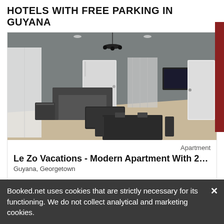HOTELS WITH FREE PARKING IN GUYANA
[Figure (photo): Interior photo of a modern apartment living/dining area with gray walls, pendant chandelier, sofa, coffee table, dining table with chairs, and a white door.]
Apartment
Le Zo Vacations - Modern Apartment With 2…
Guyana, Georgetown
The accommodation consists of a kitchen, 2 bedrooms and is situated near Kingdom Hall.
from USD 85 per night
Booked.net uses cookies that are strictly necessary for its functioning. We do not collect analytical and marketing cookies.